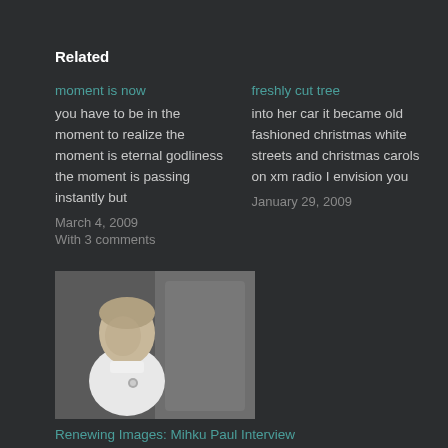Related
moment is now
you have to be in the moment to realize the moment is eternal godliness the moment is passing instantly but
March 4, 2009
With 3 comments
freshly cut tree
into her car it became old fashioned christmas white streets and christmas carols on xm radio I envision you
January 29, 2009
[Figure (photo): Black and white photograph of a woman leaning against a rock or tree, wearing a white top with a brooch/pin]
Renewing Images: Mihku Paul Interview
September 14, 2012
In "heroes"